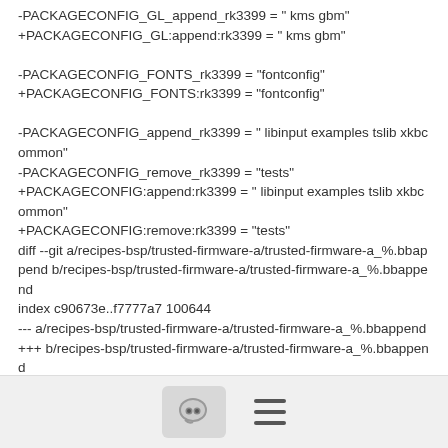-PACKAGECONFIG_GL_append_rk3399 = " kms gbm"
+PACKAGECONFIG_GL:append:rk3399 = " kms gbm"

-PACKAGECONFIG_FONTS_rk3399 = "fontconfig"
+PACKAGECONFIG_FONTS:rk3399 = "fontconfig"

-PACKAGECONFIG_append_rk3399 = " libinput examples tslib xkbcommon"
-PACKAGECONFIG_remove_rk3399 = "tests"
+PACKAGECONFIG:append:rk3399 = " libinput examples tslib xkbcommon"
+PACKAGECONFIG:remove:rk3399 = "tests"
diff --git a/recipes-bsp/trusted-firmware-a/trusted-firmware-a_%.bbappend b/recipes-bsp/trusted-firmware-a/trusted-firmware-a_%.bbappend
index c90673e..f7777a7 100644
--- a/recipes-bsp/trusted-firmware-a/trusted-firmware-a_%.bbappend
+++ b/recipes-bsp/trusted-firmware-a/trusted-firmware-a_%.bbappend
[Figure (screenshot): Mobile app bottom navigation bar with a chat/comment bubble icon button and a hamburger menu icon]